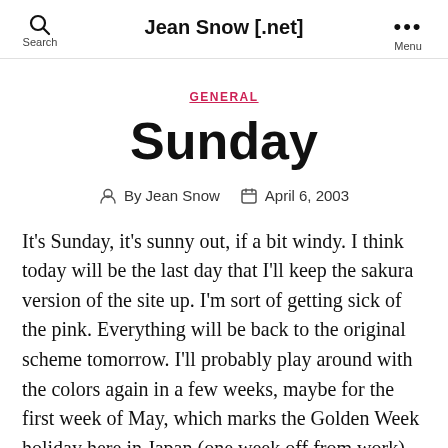Jean Snow [.net]
GENERAL
Sunday
By Jean Snow  April 6, 2003
It's Sunday, it's sunny out, if a bit windy. I think today will be the last day that I'll keep the sakura version of the site up. I'm sort of getting sick of the pink. Everything will be back to the original scheme tomorrow. I'll probably play around with the colors again in a few weeks, maybe for the first week of May, which marks the Golden Week holiday here in Japan (one week off from work).